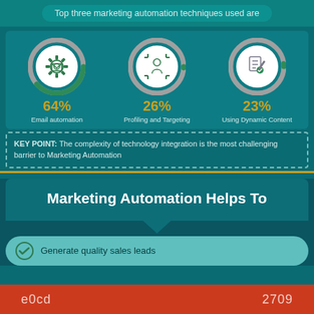Top three marketing automation techniques used are
[Figure (infographic): Three circular donut-style icons showing marketing automation techniques with percentages: 64% Email automation (green/grey donut with email/gear icon), 26% Profiling and Targeting (green/grey donut with person target icon), 23% Using Dynamic Content (grey donut with document icon)]
KEY POINT: The complexity of technology integration is the most challenging barrier to Marketing Automation
Marketing Automation Helps To
Generate quality sales leads
e0cd   2709